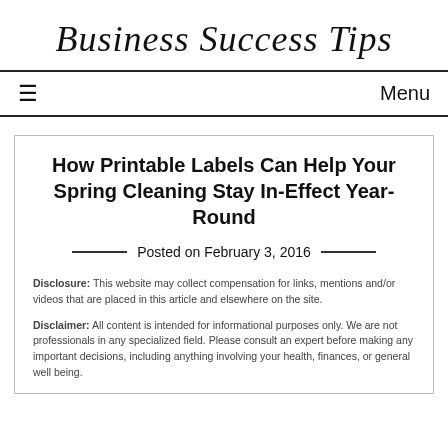Business Success Tips
≡   Menu
How Printable Labels Can Help Your Spring Cleaning Stay In-Effect Year-Round
Posted on February 3, 2016
Disclosure: This website may collect compensation for links, mentions and/or videos that are placed in this article and elsewhere on the site.
Disclaimer: All content is intended for informational purposes only. We are not professionals in any specialized field. Please consult an expert before making any important decisions, including anything involving your health, finances, or general well being.